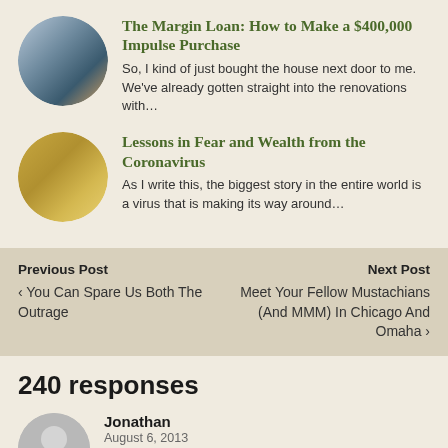The Margin Loan: How to Make a $400,000 Impulse Purchase
So, I kind of just bought the house next door to me. We've already gotten straight into the renovations with…
Lessons in Fear and Wealth from the Coronavirus
As I write this, the biggest story in the entire world is a virus that is making its way around…
Previous Post
‹ You Can Spare Us Both The Outrage
Next Post
Meet Your Fellow Mustachians (And MMM) In Chicago And Omaha ›
240 responses
Jonathan
August 6, 2013
Lady Mechanic/Garage owner – funnily enough, that's what Princess Elizabeth, now HMQ, trained as in the British military during the Second World War, and had…